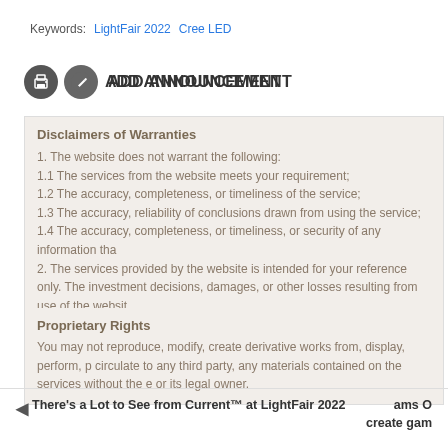Keywords: LightFair 2022   Cree LED
[Figure (other): Print icon (circle with printer symbol) and Edit/Add icon (circle with pencil symbol)]
ADD ANNOUNCEMENT
Disclaimers of Warranties
1. The website does not warrant the following:
1.1 The services from the website meets your requirement;
1.2 The accuracy, completeness, or timeliness of the service;
1.3 The accuracy, reliability of conclusions drawn from using the service;
1.4 The accuracy, completeness, or timeliness, or security of any information tha
2. The services provided by the website is intended for your reference only. The investment decisions, damages, or other losses resulting from use of the websit
Proprietary Rights
You may not reproduce, modify, create derivative works from, display, perform, p circulate to any third party, any materials contained on the services without the e or its legal owner.
There's a Lot to See from Current™ at LightFair 2022
ams O create gam